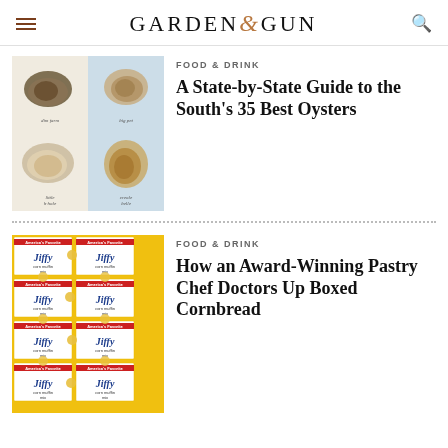GARDEN & GUN
[Figure (illustration): Four oyster illustrations arranged in a 2x2 grid with labels]
FOOD & DRINK
A State-by-State Guide to the South's 35 Best Oysters
[Figure (photo): Jiffy corn muffin mix boxes arranged in a yellow grid pattern]
FOOD & DRINK
How an Award-Winning Pastry Chef Doctors Up Boxed Cornbread